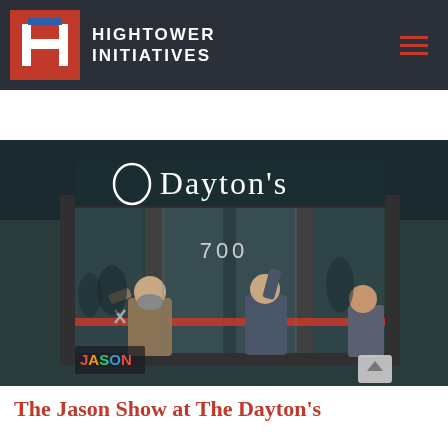HIGHTOWER INITIATIVES
[Figure (photo): Photo of two men cutting a red ribbon in front of a building entrance marked '700' with 'Dayton's' signage above, during a ribbon-cutting ceremony. A 'JASON' logo watermark is visible in the lower left corner.]
The Jason Show at The Dayton's